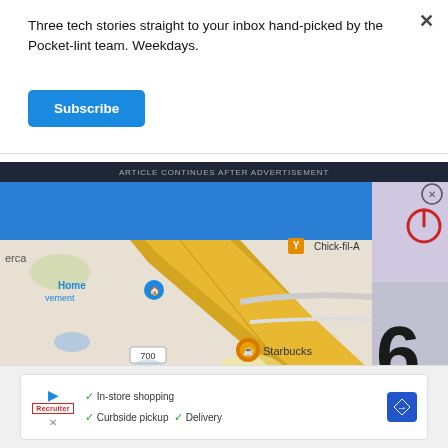Three tech stories straight to your inbox hand-picked by the Pocket-lint team. Weekdays.
Subscribe
ARTICLE CONTINUES AFTER ADVERTISEMENT
[Figure (map): Google Maps screenshot showing local area with Chick-fil-A, Starbucks, Home Depot/Improvement markers and road 700 labeled. A red pin marker visible near 'Southern' label. Yellow diagonal road prominent.]
In-store shopping  Curbside pickup  Delivery